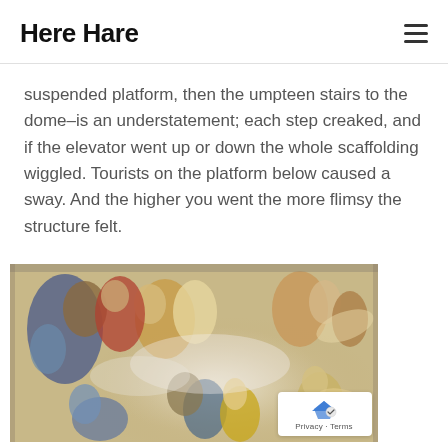Here Hare
suspended platform, then the umpteen stairs to the dome–is an understatement; each step creaked, and if the elevator went up or down the whole scaffolding wiggled. Tourists on the platform below caused a sway. And the higher you went the more flimsy the structure felt.
[Figure (photo): A baroque ceiling fresco depicting angels, mythological figures and heavenly scenes with colorful robes on a clouded background.]